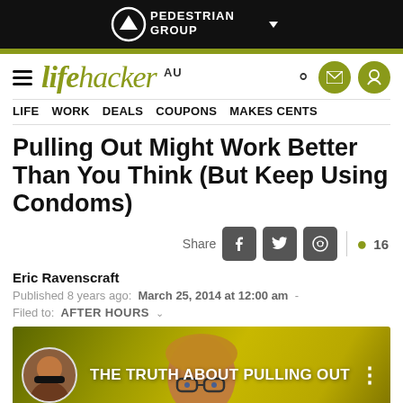[Figure (screenshot): Pedestrian Group logo on black header bar with white logo and dropdown arrow]
lifehacker AU — navigation bar with LIFE WORK DEALS COUPONS MAKES CENTS
Pulling Out Might Work Better Than You Think (But Keep Using Condoms)
Share  16
Eric Ravenscraft
Published 8 years ago: March 25, 2014 at 12:00 am -
Filed to: AFTER HOURS
[Figure (screenshot): Video thumbnail with yellow-green gradient background showing 'THE TRUTH ABOUT PULLING OUT' text with a person's face and circular avatar]